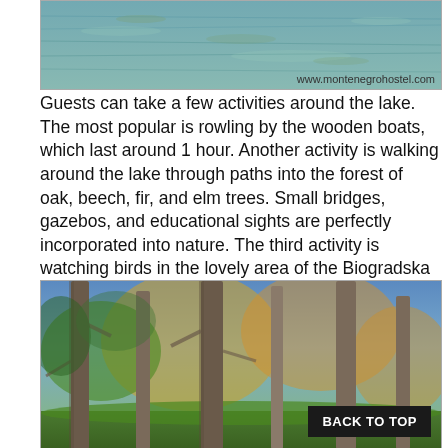[Figure (photo): Lake water surface with ripples, watermark 'www.montenegrohostel.com' in bottom right corner]
Guests can take a few activities around the lake. The most popular is rowling by the wooden boats, which last around 1 hour. Another activity is walking around the lake through paths into the forest of oak, beech, fir, and elm trees. Small bridges, gazebos, and educational sights are perfectly incorporated into nature. The third activity is watching birds in the lovely area of the Biogradska River. There are a few spots where guests can watch birds using binoculars.  Also, there are 80 species of butterflies which is 40% of the total number you can find in Montenegro.
[Figure (photo): Forest with tall trees, autumn foliage in background, green grass on ground, with a 'BACK TO TOP' button overlay in bottom right]